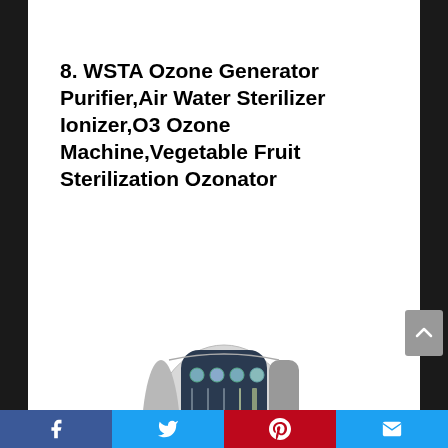8. WSTA Ozone Generator Purifier,Air Water Sterilizer Ionizer,O3 Ozone Machine,Vegetable Fruit Sterilization Ozonator
[Figure (photo): WSTA Ozone Generator product photo — a silver and dark blue countertop ozone machine with green indicator buttons and a circular front dial panel]
Facebook | Twitter | Pinterest | Email